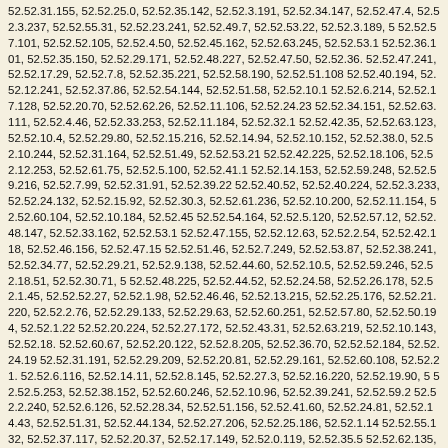52.52.31.155, 52.52.25.0, 52.52.35.142, 52.52.3.191, 52.52.34.147, 52.52.47.4, 52.52.3.237, 52.52.55.31, 52.52.23.241, 52.52.49.7, 52.52.53.22, 52.52.3.189, 52.52.57.101, 52.52.52.105, 52.52.4.50, 52.52.45.162, 52.52.63.245, 52.52.53.1, 52.52.36.101, 52.52.35.150, 52.52.29.171, 52.52.48.227, 52.52.47.50, 52.52.36., 52.52.47.241, 52.52.17.29, 52.52.7.8, 52.52.35.221, 52.52.58.190, 52.52.51.108, 52.52.40.194, 52.52.12.241, 52.52.37.86, 52.52.54.144, 52.52.51.58, 52.52.10.1, 52.52.6.214, 52.52.17.128, 52.52.20.70, 52.52.62.26, 52.52.11.106, 52.52.24.23, 52.52.34.151, 52.52.63.111, 52.52.4.46, 52.52.33.253, 52.52.11.184, 52.52.32.1, 52.52.42.35, 52.52.63.123, 52.52.10.4, 52.52.29.80, 52.52.15.216, 52.52.14.94, 52.52.10.152, 52.52.38.0, 52.52.10.244, 52.52.31.164, 52.52.51.49, 52.52.53.21, 52.52.42.225, 52.52.18.106, 52.52.12.253, 52.52.61.75, 52.52.5.100, 52.52.41.1, 52.52.14.153, 52.52.59.248, 52.52.59.216, 52.52.7.99, 52.52.31.91, 52.52.39.22, 52.52.40.52, 52.52.40.224, 52.52.3.233, 52.52.24.132, 52.52.15.92, 52.52.30.3, 52.52.61.236, 52.52.10.200, 52.52.11.154, 52.52.60.104, 52.52.10.184, 52.52.45, 52.52.54.164, 52.52.5.120, 52.52.57.12, 52.52.48.147, 52.52.33.162, 52.52.53.1, 52.52.47.155, 52.52.12.63, 52.52.2.54, 52.52.42.118, 52.52.46.156, 52.52.47.15, 52.52.51.46, 52.52.7.249, 52.52.53.87, 52.52.38.241, 52.52.34.77, 52.52.29.21, 52.52.9.138, 52.52.44.60, 52.52.10.5, 52.52.59.246, 52.52.18.51, 52.52.30.71, 52.52.48.225, 52.52.44.52, 52.52.24.58, 52.52.26.178, 52.52.1.45, 52.52.52.27, 52.52.1.98, 52.52.46.46, 52.52.13.215, 52.52.25.176, 52.52.21.220, 52.52.2.76, 52.52.29.133, 52.52.29.63, 52.52.60.251, 52.52.57.80, 52.52.50.194, 52.52.1.22, 52.52.20.224, 52.52.27.172, 52.52.43.31, 52.52.63.219, 52.52.10.143, 52.52.18., 52.52.60.67, 52.52.20.122, 52.52.8.205, 52.52.36.70, 52.52.52.184, 52.52.24.19, 52.52.31.191, 52.52.29.209, 52.52.20.81, 52.52.29.161, 52.52.60.108, 52.52.21., 52.52.6.116, 52.52.14.11, 52.52.8.145, 52.52.27.3, 52.52.16.220, 52.52.19.90, 52.52.5.253, 52.52.38.152, 52.52.60.246, 52.52.10.96, 52.52.39.241, 52.52.59.2, 52.52.2.240, 52.52.6.126, 52.52.28.34, 52.52.51.156, 52.52.41.60, 52.52.24.81, 52.52.14.43, 52.52.51.31, 52.52.44.134, 52.52.27.206, 52.52.25.186, 52.52.1.14, 52.52.55.132, 52.52.37.117, 52.52.20.37, 52.52.17.149, 52.52.0.119, 52.52.35.5, 52.52.62.135, 52.52.59.103, 52.52.10.247, 52.52.41.3, 52.52.29.170, 52.52.59.1, 52.52.14.112, 52.52.20.29, 52.52.63.69, 52.52.22.164, 52.52.1.49, 52.52.18.154, 52.52.43.163, 52.52.32.228, 52.52.18.79, 52.52.19.49, 52.52.57.253, 52.52.4.81, 52.52.24.72, 52.52.40.71, 52.52.60.169, 52.52.29.191, 52.52.12.72, 52.52.40.